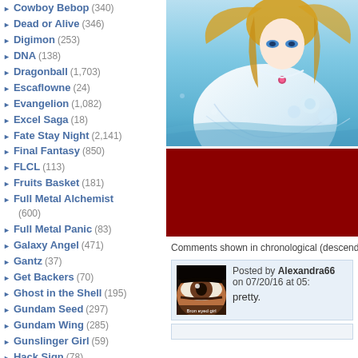Cowboy Bebop (340)
Dead or Alive (346)
Digimon (253)
DNA (138)
Dragonball (1,703)
Escaflowne (24)
Evangelion (1,082)
Excel Saga (18)
Fate Stay Night (2,141)
Final Fantasy (850)
FLCL (113)
Fruits Basket (181)
Full Metal Alchemist (600)
Full Metal Panic (83)
Galaxy Angel (471)
Gantz (37)
Get Backers (70)
Ghost in the Shell (195)
Gundam Seed (297)
Gundam Wing (285)
Gunslinger Girl (59)
Hack Sign (78)
Haibane Renmei (43)
Hamtaro (50)
Hello Kitty (299)
Hellsing (341)
Howls Moving Castle (60)
Hyper Police (9)
[Figure (illustration): Anime illustration of a female character in white dress with blue/teal background and rose decorations]
[Figure (illustration): Dark red/maroon colored block below the anime image]
Comments shown in chronological (descending) o...
Posted by Alexandra66 on 07/20/16 at 05:... pretty.